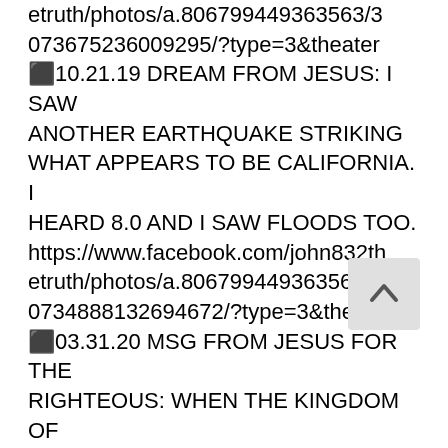etruth/photos/a.806799449363563/3073675236009295/?type=3&theater
⬛10.21.19 DREAM FROM JESUS: I SAW ANOTHER EARTHQUAKE STRIKING WHAT APPEARS TO BE CALIFORNIA. I HEARD 8.0 AND I SAW FLOODS TOO.
https://www.facebook.com/john832thetruth/photos/a.806799449363563/3073488132694672/?type=3&theater
⬛03.31.20 MSG FROM JESUS FOR THE RIGHTEOUS: WHEN THE KINGDOM OF GOD BECOMES ESTABLISHED IN THE UNGODLY PLACES GOD'S CHILDREN THE SPIRITUAL JOSEPHS WILL HAVE FULL ACCESS TO IT.
https://www.facebook.com/john832thetruth/photos/a.806799449363563/3073171882726297/?type=3&theater
⬛As multiple prayer warriors and I